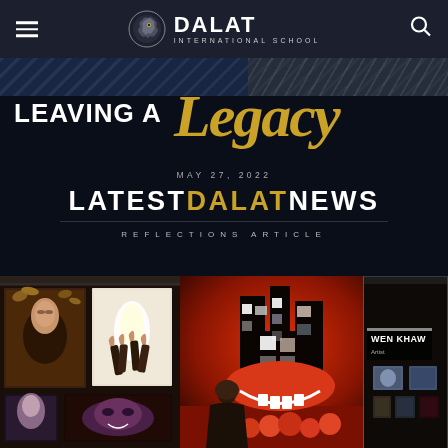DALAT INTERNATIONAL SCHOOL
[Figure (photo): Banner image reading LEAVING A Legacy with MAY 27, 2022 date and LATEST DALAT NEWS REFLECTIONS ARTICLE text on dark background]
[Figure (photo): Art gallery exhibition photo showing students artwork displayed on walls, with WEN KHAW label visible on right side, person silhouetted viewing art in foreground]